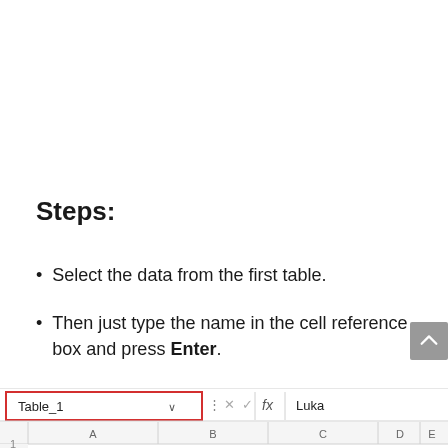Steps:
Select the data from the first table.
Then just type the name in the cell reference box and press Enter.
[Figure (screenshot): Excel spreadsheet screenshot showing the Name Box with 'Table_1' selected (red border), formula bar showing 'Luka', and column headers A, B, C, D, E, F with row 1 partially visible.]